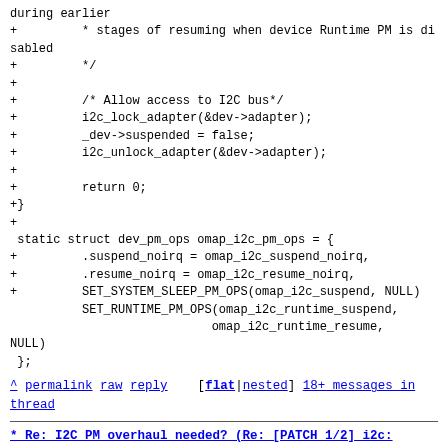during earlier
+         * stages of resuming when device Runtime PM is disabled
+         */
+
+         /* Allow access to I2C bus*/
+         i2c_lock_adapter(&dev->adapter);
+         _dev->suspended = false;
+         i2c_unlock_adapter(&dev->adapter);
+
+         return 0;
+}
+
 static struct dev_pm_ops omap_i2c_pm_ops = {
+         .suspend_noirq = omap_i2c_suspend_noirq,
+         .resume_noirq = omap_i2c_resume_noirq,
+         SET_SYSTEM_SLEEP_PM_OPS(omap_i2c_suspend, NULL)
          SET_RUNTIME_PM_OPS(omap_i2c_runtime_suspend,
                            omap_i2c_runtime_resume,
NULL)
 };
^ permalink raw reply  [flat|nested] 18+ messages in thread
* Re: I2C PM overhaul needed? (Re: [PATCH 1/2] i2c: sprd: Prevent i2c accesses after suspend is called)
  2018-05-07 17:48                         ` Grygorii Strashko
@ 2018-05-08 16:32                           Wolfram Sang